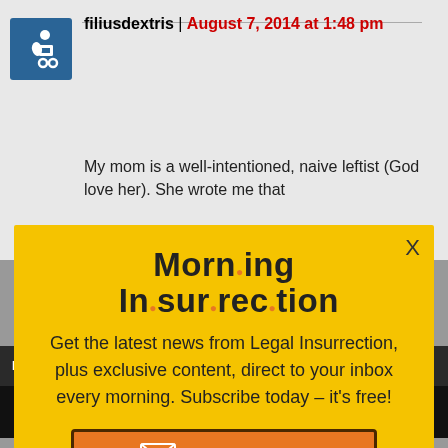[Figure (screenshot): User avatar icon - blue background with wheelchair accessibility symbol]
filiusdextris | August 7, 2014 at 1:48 pm
My mom is a well-intentioned, naive leftist (God love her). She wrote me that
[Figure (infographic): Yellow popup modal for Morning Insurrection newsletter signup with JOIN NOW button]
MIK in reply to sdextris. | August
[Figure (logo): Fiverr logo on dark background with Start Now green button]
There is what I believe is an